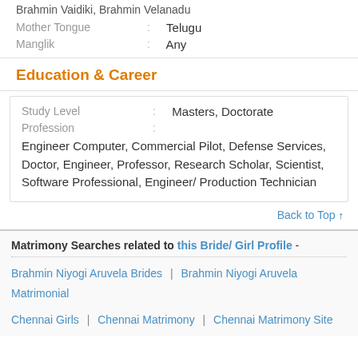Brahmin Vaidiki, Brahmin Velanadu
Mother Tongue : Telugu
Manglik : Any
Education & Career
| Study Level | : | Masters, Doctorate |
| Profession | : | Engineer Computer, Commercial Pilot, Defense Services, Doctor, Engineer, Professor, Research Scholar, Scientist, Software Professional, Engineer/ Production Technician |
Back to Top ↑
Matrimony Searches related to this Bride/ Girl Profile -
Brahmin Niyogi Aruvela Brides | Brahmin Niyogi Aruvela Matrimonial
Chennai Girls | Chennai Matrimony | Chennai Matrimony Site